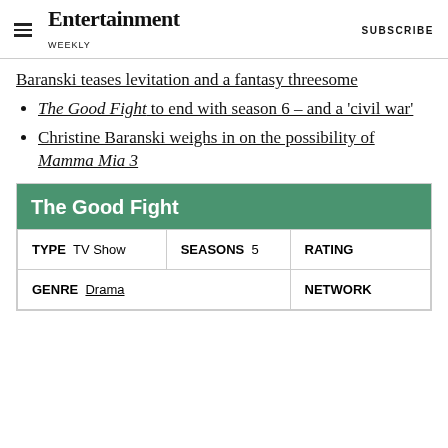Entertainment Weekly  SUBSCRIBE
Baranski teases levitation and a fantasy threesome
The Good Fight to end with season 6 – and a 'civil war'
Christine Baranski weighs in on the possibility of Mamma Mia 3
| The Good Fight |
| --- |
| TYPE  TV Show | SEASONS  5 | RATING |
| GENRE  Drama | NETWORK |  |